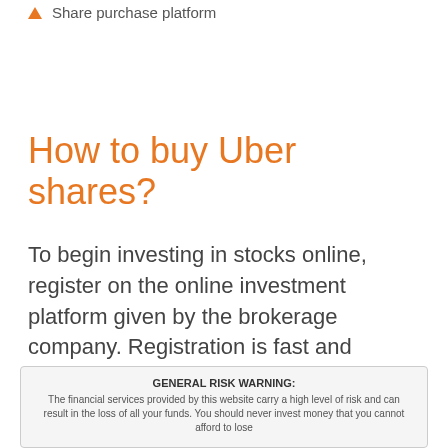Share purchase platform
How to buy Uber shares?
To begin investing in stocks online, register on the online investment platform given by the brokerage company. Registration is fast and simple, it takes just a couple of minutes. Fill out the registration form, the program will automatically send you a confirmation to your email. So, confirm your email and begin working on the platform.
GENERAL RISK WARNING: The financial services provided by this website carry a high level of risk and can result in the loss of all your funds. You should never invest money that you cannot afford to lose